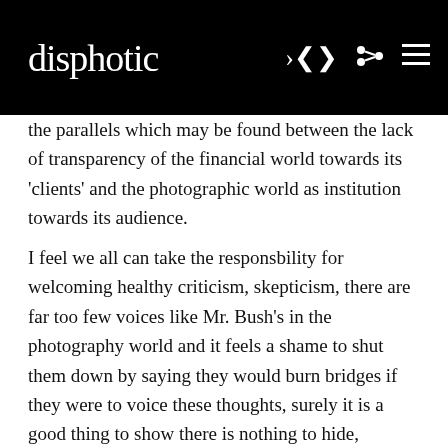disphotic
the parallels which may be found between the lack of transparency of the financial world towards its 'clients' and the photographic world as institution towards its audience. I feel we all can take the responsbility for welcoming healthy criticism, skepticism, there are far too few voices like Mr. Bush's in the photography world and it feels a shame to shut them down by saying they would burn bridges if they were to voice these thoughts, surely it is a good thing to show there is nothing to hide, nothing to fear from direct and uncomfortable